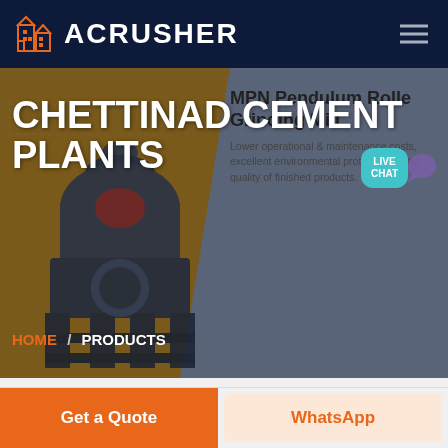ACRUSHER
[Figure (screenshot): Hero banner showing a pendulum roller grinding mill machine on a split brown/grey background with overlay text 'CHETTINAD CEMENT PLANTS' and product info 'MPN Pendulum Roller Grinding Mill']
CHETTINAD CEMENT PLANTS
MPN Pendulum Roller Grinding Mill
Lower operational & maintenance costs, excellent environmental protection, better quality of finished products.
HOME / PRODUCTS
Get a Quote
WhatsApp